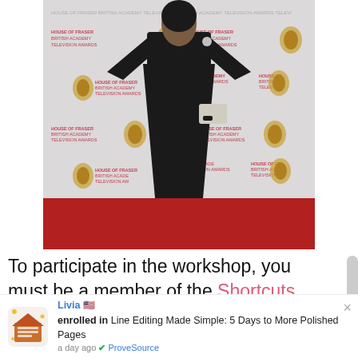[Figure (photo): A person in a long black dress standing on a red carpet in front of a BAFTA British Academy Television Awards step-and-repeat backdrop]
To participate in the workshop, you must be a member of the Shortcuts for Writers: Editing Made Simple Facebook
Livia 🇺🇸 enrolled in Line Editing Made Simple: 5 Days to More Polished Pages a day ago ✅ ProveSource